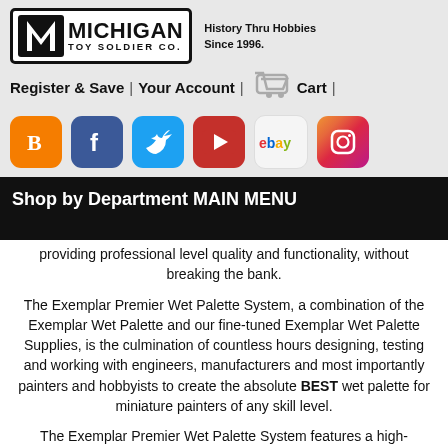[Figure (logo): Michigan Toy Soldier Co. logo with M icon and tagline 'History Thru Hobbies Since 1996.']
Register & Save | Your Account | Cart |
[Figure (infographic): Row of social media icons: Blogger, Facebook, Twitter, YouTube, eBay, Instagram]
Shop by Department MAIN MENU
providing professional level quality and functionality, without breaking the bank.
The Exemplar Premier Wet Palette System, a combination of the Exemplar Wet Palette and our fine-tuned Exemplar Wet Palette Supplies, is the culmination of countless hours designing, testing and working with engineers, manufacturers and most importantly painters and hobbyists to create the absolute BEST wet palette for miniature painters of any skill level.
The Exemplar Premier Wet Palette System features a high-performance, replaceable silicone seal that works together with a sturdy four-point closure system, ensuring you always have the best